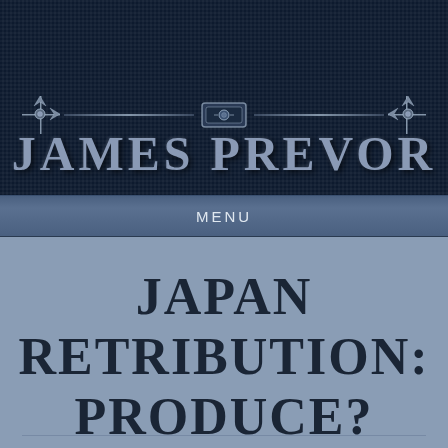JAMES PREVOR
MENU
JAPAN RETRIBUTION: PRODUCE?